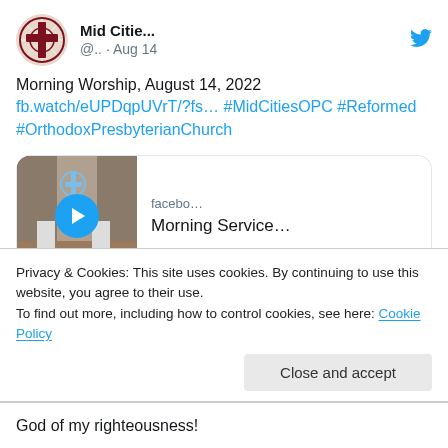[Figure (screenshot): Twitter/X profile avatar — circular logo with cross and rays, dark red/maroon colors]
Mid Citie... @.. · Aug 14
[Figure (logo): Twitter bird logo in blue]
Morning Worship, August 14, 2022 fb.watch/eUPDqpUVrT/?fs… #MidCitiesOPC #Reformed #OrthodoxPresbyterianChurch
[Figure (screenshot): Embedded Facebook video card showing a church interior with a cross, play button overlay. Domain: facebo… Title: Morning Service...]
Privacy & Cookies: This site uses cookies. By continuing to use this website, you agree to their use.
To find out more, including how to control cookies, see here: Cookie Policy
Close and accept
God of my righteousness!